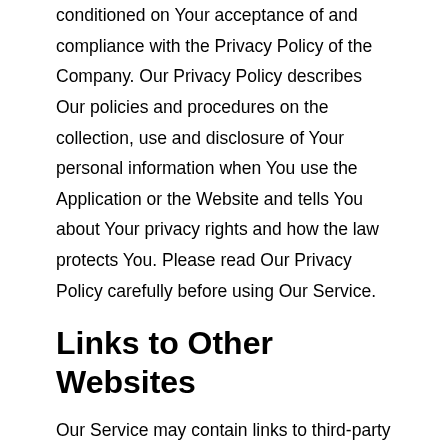conditioned on Your acceptance of and compliance with the Privacy Policy of the Company. Our Privacy Policy describes Our policies and procedures on the collection, use and disclosure of Your personal information when You use the Application or the Website and tells You about Your privacy rights and how the law protects You. Please read Our Privacy Policy carefully before using Our Service.
Links to Other Websites
Our Service may contain links to third-party web sites or services that are not owned or controlled by the Company.
The Company has no control over, and assumes no responsibility for, the content, privacy policies, or